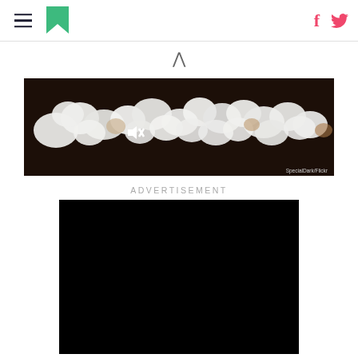Navigation header with hamburger menu, logo, Facebook and Twitter icons
[Figure (photo): Close-up photograph of white popcorn kernels on a dark background. Credit: SpecialDark/Flickr]
ADVERTISEMENT
[Figure (screenshot): Black video player with a white play button triangle in the center and a mute/speaker icon in the bottom left corner]